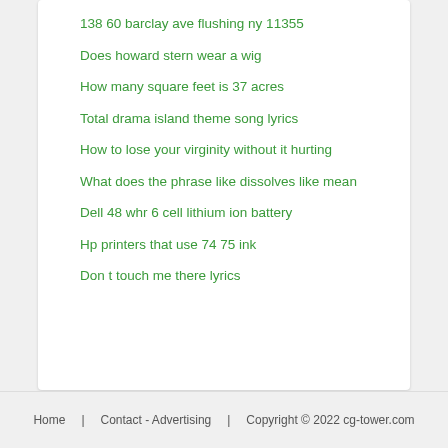138 60 barclay ave flushing ny 11355
Does howard stern wear a wig
How many square feet is 37 acres
Total drama island theme song lyrics
How to lose your virginity without it hurting
What does the phrase like dissolves like mean
Dell 48 whr 6 cell lithium ion battery
Hp printers that use 74 75 ink
Don t touch me there lyrics
Home   Contact - Advertising   Copyright © 2022 cg-tower.com